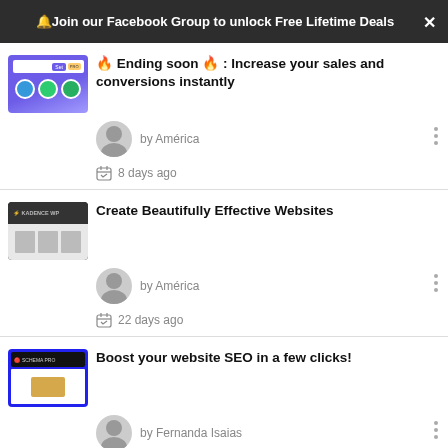🔔Join our Facebook Group to unlock Free Lifetime Deals✕
🔥 Ending soon 🔥 : Increase your sales and conversions instantly
by América
8 days ago
Create Beautifully Effective Websites
by América
22 days ago
Boost your website SEO in a few clicks!
by Fernanda Isaias
2 months ago